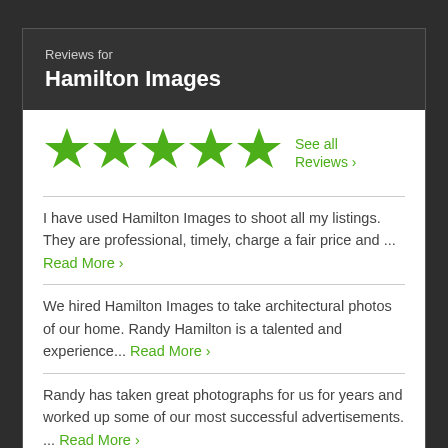Reviews for
Hamilton Images
[Figure (infographic): Five green filled stars rating, followed by 'See all Reviews >' link in green]
I have used Hamilton Images to shoot all my listings. They are professional, timely, charge a fair price and ... Read More >
We hired Hamilton Images to take architectural photos of our home. Randy Hamilton is a talented and experience... Read More >
Randy has taken great photographs for us for years and worked up some of our most successful advertisements. ... Read More >
See All Reviews